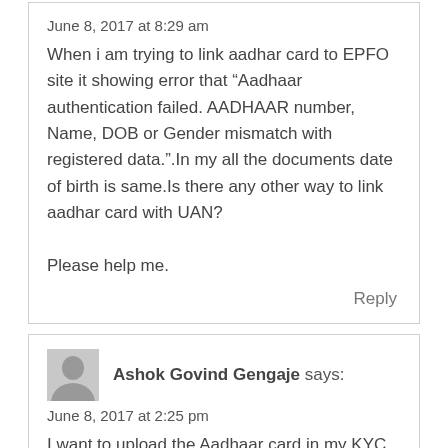June 8, 2017 at 8:29 am
When i am trying to link aadhar card to EPFO site it showing error that “Aadhaar authentication failed. AADHAAR number, Name, DOB or Gender mismatch with registered data.”.In my all the documents date of birth is same.Is there any other way to link aadhar card with UAN?

Please help me.
Reply
Ashok Govind Gengaje says:
June 8, 2017 at 2:25 pm
I want to upload the Aadhaar card in my KYC Details. But my birthdate in my profile is wrong. Please tell